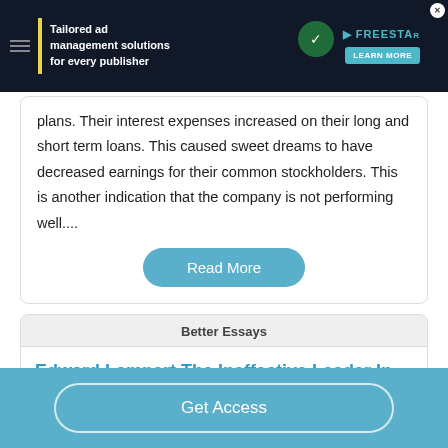[Figure (screenshot): Advertisement banner: 'Tailored ad management solutions for every publisher' with Freestar logo and Learn More button]
plans. Their interest expenses increased on their long and short term loans. This caused sweet dreams to have decreased earnings for their common stockholders. This is another indication that the company is not performing well....
Read More
Better Essays
Edward Lampert The Ineffective Leader In Retail...
Get Access